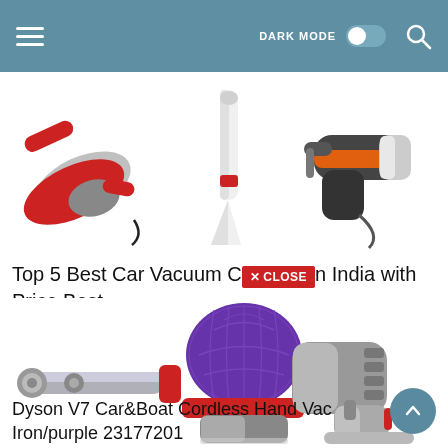DARK MODE [toggle] [search icon]
[Figure (photo): Three handheld/car vacuum cleaners shown side by side: a red handheld vacuum on the left, a white stick-style vacuum in the center, and an orange/black handheld vacuum on the right.]
Top 5 Best Car Vacuum Cleaners in India with Price Best
[Figure (photo): Dyson V7 Car&Boat Cordless Hand Vac in iron/purple color — a handheld cordless vacuum with a large purple ball-shaped filter, red ring, and silver/grey body with a pistol-grip handle.]
Dyson V7 Car&Boat Cordless Hand Vac Iron/purple 23177201